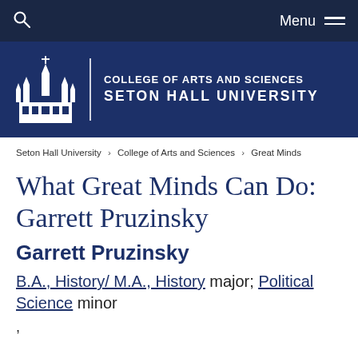Menu
[Figure (logo): College of Arts and Sciences, Seton Hall University logo with building illustration]
Seton Hall University > College of Arts and Sciences > Great Minds
What Great Minds Can Do: Garrett Pruzinsky
Garrett Pruzinsky
B.A., History/ M.A., History major; Political Science minor